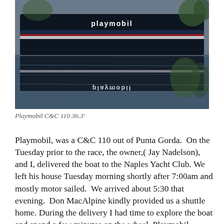[Figure (photo): Photo of a sailboat named 'playmobil' reflected in calm water. The boat's dark hull is visible above and its reflection appears below, showing the text 'playmobil' on both the hull and its water reflection.]
Playmobil C&C 110 36.3'
Playmobil, was a C&C 110 out of Punta Gorda.  On the Tuesday prior to the race, the owner,( Jay Nadelson), and I, delivered the boat to the Naples Yacht Club. We left his house Tuesday morning shortly after 7:00am and mostly motor sailed.  We arrived about 5:30 that evening.  Don MacAlpine kindly provided us a shuttle home. During the delivery I had time to explore the boat and spend a few minutes on the wheel. Playmobil  features V-Pro sails and a